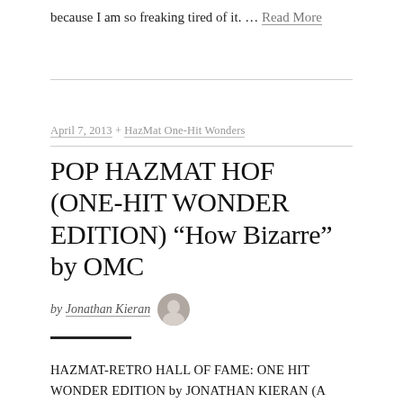because I am so freaking tired of it. … Read More
April 7, 2013 + HazMat One-Hit Wonders
POP HAZMAT HOF (ONE-HIT WONDER EDITION) "How Bizarre" by OMC
by Jonathan Kieran
HAZMAT-RETRO HALL OF FAME: ONE HIT WONDER EDITION by JONATHAN KIERAN (A warlock with troll-skin boots? Yeah. Amazon. Click